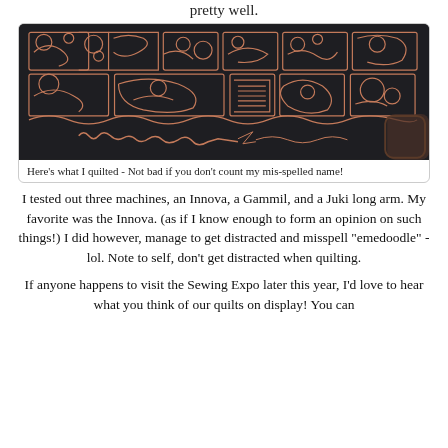pretty well.
[Figure (photo): A dark fabric with quilted copper/rose-gold thread stitching showing geometric and organic patterns, with the misspelled word 'emeddle' stitched at the bottom]
Here's what I quilted - Not bad if you don't count my mis-spelled name!
I tested out three machines, an Innova, a Gammil, and a Juki long arm. My favorite was the Innova. (as if I know enough to form an opinion on such things!) I did however, manage to get distracted and misspell "emedoodle" - lol. Note to self, don't get distracted when quilting.
If anyone happens to visit the Sewing Expo later this year, I'd love to hear what you think of our quilts on display! You can